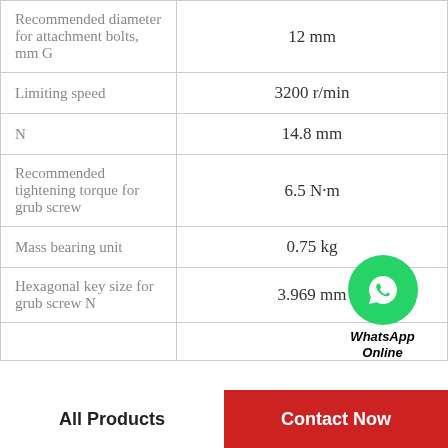| Parameter | Value |
| --- | --- |
| Recommended diameter for attachment bolts, mm G | 12 mm |
| Limiting speed | 3200 r/min |
| N | 14.8 mm |
| Recommended tightening torque for grub screw | 6.5 N·m |
| Mass bearing unit | 0.75 kg |
| Hexagonal key size for grub screw N | 3.969 mm |
|  |  |
[Figure (logo): WhatsApp Online logo with green circle phone icon and bold italic text 'WhatsApp Online']
All Products
Contact Now